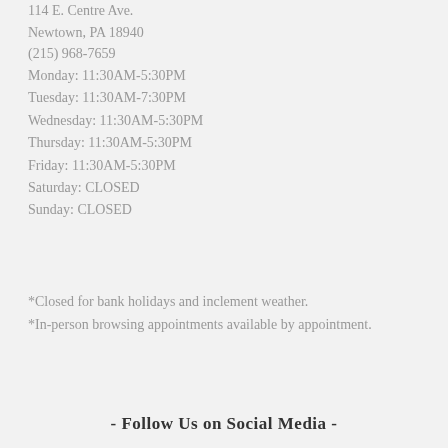114 E. Centre Ave.
Newtown, PA 18940
(215) 968-7659
Monday: 11:30AM-5:30PM
Tuesday: 11:30AM-7:30PM
Wednesday: 11:30AM-5:30PM
Thursday: 11:30AM-5:30PM
Friday: 11:30AM-5:30PM
Saturday: CLOSED
Sunday: CLOSED
*Closed for bank holidays and inclement weather.
*In-person browsing appointments available by appointment.
- Follow Us on Social Media -